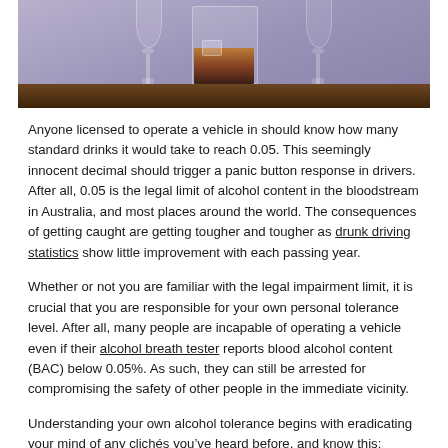[Figure (photo): Photograph of whiskey/cocktail glasses on a wooden surface against a purple/lavender background. The glasses include a short rocks glass filled with an amber/brown drink and taller stemmed glasses.]
Anyone licensed to operate a vehicle in should know how many standard drinks it would take to reach 0.05. This seemingly innocent decimal should trigger a panic button response in drivers. After all, 0.05 is the legal limit of alcohol content in the bloodstream in Australia, and most places around the world. The consequences of getting caught are getting tougher and tougher as drunk driving statistics show little improvement with each passing year.
Whether or not you are familiar with the legal impairment limit, it is crucial that you are responsible for your own personal tolerance level. After all, many people are incapable of operating a vehicle even if their alcohol breath tester reports blood alcohol content (BAC) below 0.05%. As such, they can still be arrested for compromising the safety of other people in the immediate vicinity.
Understanding your own alcohol tolerance begins with eradicating your mind of any clichés you've heard before, and know this: